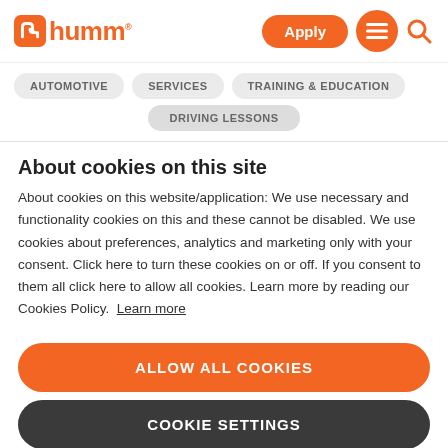humm® | Apply | Menu | Search
AUTOMOTIVE
SERVICES
TRAINING & EDUCATION
DRIVING LESSONS
About cookies on this site
About cookies on this website/application: We use necessary and functionality cookies on this and these cannot be disabled. We use cookies about preferences, analytics and marketing only with your consent. Click here to turn these cookies on or off. If you consent to them all click here to allow all cookies. Learn more by reading our Cookies Policy. Learn more
ALLOW ALL COOKIES
COOKIE SETTINGS